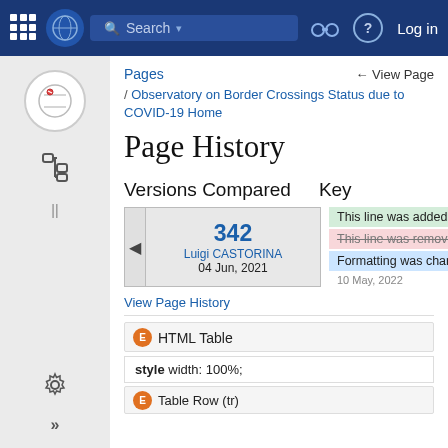Search | Log in
Pages  ← View Page
/ Observatory on Border Crossings Status due to COVID-19 Home
Page History
Versions Compared   Key
| Version | Author | Date |
| --- | --- | --- |
| 342 | Luigi CASTORINA | 04 Jun, 2021 |
This line was added.
This line was removed.
Formatting was changed.
View Page History
HTML Table
style width: 100%;
Table Row (tr)